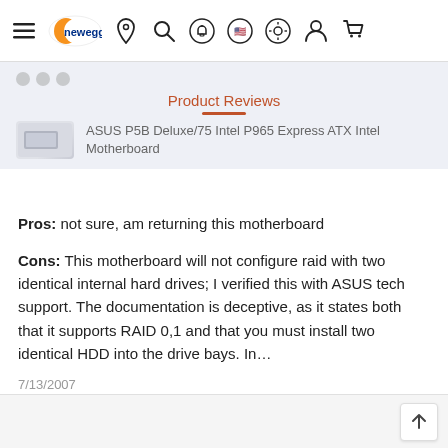Newegg navigation bar with logo and icons
Product Reviews
ASUS P5B Deluxe/75 Intel P965 Express ATX Intel Motherboard
Pros: not sure, am returning this motherboard
Cons: This motherboard will not configure raid with two identical internal hard drives; I verified this with ASUS tech support. The documentation is deceptive, as it states both that it supports RAID 0,1 and that you must install two identical HDD into the drive bays. In...
7/13/2007